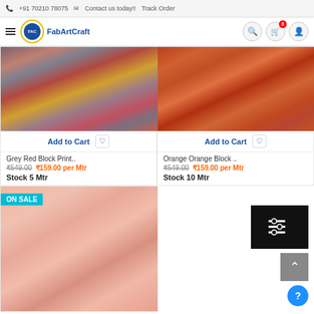+91 70210 78075  Contact us today!!  Track Order
[Figure (screenshot): FabArtCraft logo and navigation bar with hamburger menu, search, cart (0), and profile icons]
[Figure (photo): Grey Red Block Print fabric product image]
Add to Cart
Grey Red Block Print..
₹549.00  ₹159.00 per Mtr
Stock 5 Mtr
[Figure (photo): Orange Orange Block fabric product image]
Add to Cart
Orange Orange Block ..
₹549.00  ₹159.00 per Mtr
Stock 10 Mtr
[Figure (photo): Peach floral block print fabric product image with ON SALE badge]
[Figure (other): Filter/settings button icon (black square with sliders), scroll-to-top button (grey), and help button (blue circle with ?)]